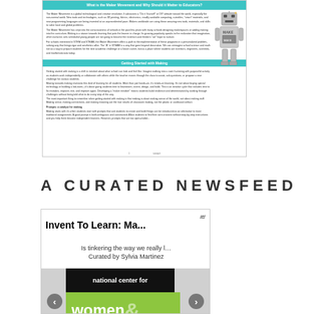[Figure (screenshot): Screenshot of a document page titled 'What is the Maker Movement and Why Should it Matter to Educators?' with teal/cyan section headers, body text, a robot illustration on the right, and a section header 'Getting Started with Making'.]
A CURATED NEWSFEED
[Figure (screenshot): A curated newsfeed card showing 'Invent To Learn: Ma...' as the title, 'Is tinkering the way we really l... Curated by Sylvia Martinez' as subtitle, and below it an image area showing 'national center for women&' branding with navigation arrows on left and right.]